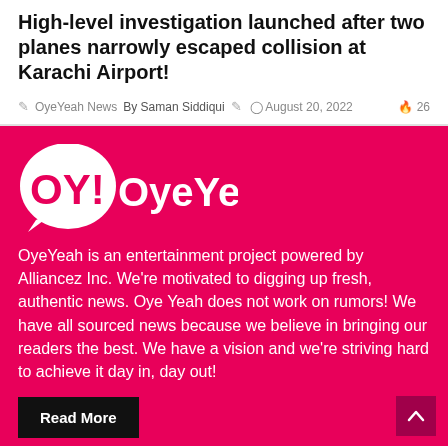High-level investigation launched after two planes narrowly escaped collision at Karachi Airport!
OyeYeah News  By Saman Siddiqui  August 20, 2022  26
[Figure (logo): OY! OyeYeah! logo in white on pink/magenta background]
OyeYeah is an entertainment project powered by Alliancez Inc. We're motivated to digging up fresh, authentic news. Oye Yeah does not work on rumors! We have all sourced news because we believe in bringing our readers the best. We have a vision and we're striving hard to achieve it day in, day out!
Read More